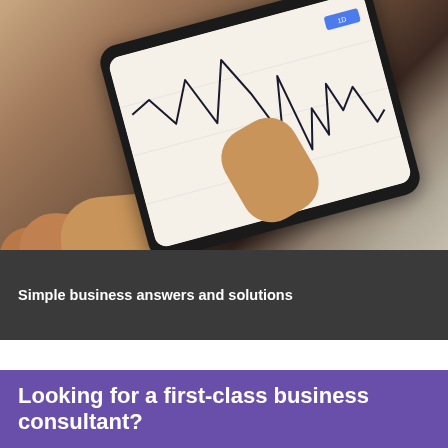[Figure (photo): A hand holding a smartphone displaying a financial stock chart (line chart showing price fluctuations)]
Simple business answers and solutions
Looking for a first-class business consultant?